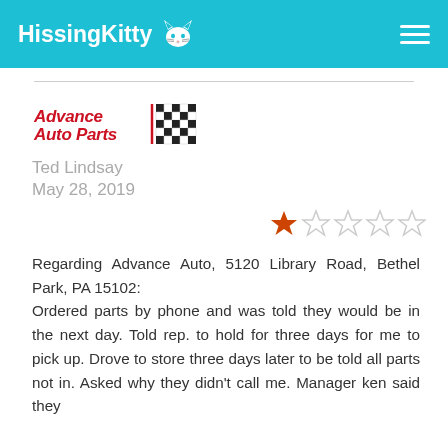HissingKitty
[Figure (logo): Advance Auto Parts logo with checkered flag]
Ted Lindsay
May 28, 2019
[Figure (other): 1 out of 5 stars rating]
Regarding Advance Auto, 5120 Library Road, Bethel Park, PA 15102: Ordered parts by phone and was told they would be in the next day. Told rep. to hold for three days for me to pick up. Drove to store three days later to be told all parts not in. Asked why they didn't call me. Manager ken said they